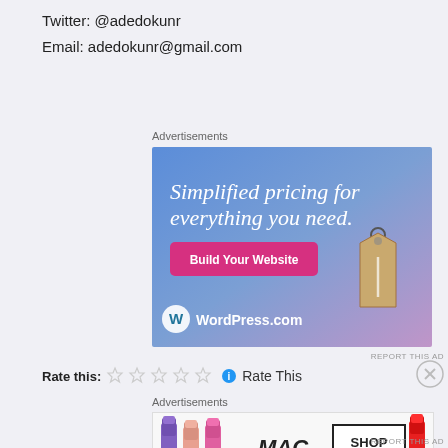Twitter: @adedokunr
Email: adedokunr@gmail.com
Advertisements
[Figure (illustration): WordPress.com advertisement banner with gradient blue-purple background, text 'Simplified pricing for everything you need.', a pink 'Build Your Website' button, a tan price tag graphic, and WordPress.com logo at the bottom.]
REPORT THIS AD
Rate this:
[Figure (other): Five empty star rating icons followed by an info icon and 'Rate This' text]
[Figure (other): Close/X button circle]
Advertisements
[Figure (illustration): MAC cosmetics advertisement showing lipsticks in purple, pink, and red colors with MAC logo and 'SHOP NOW' button in a black bordered box]
REPORT THIS AD